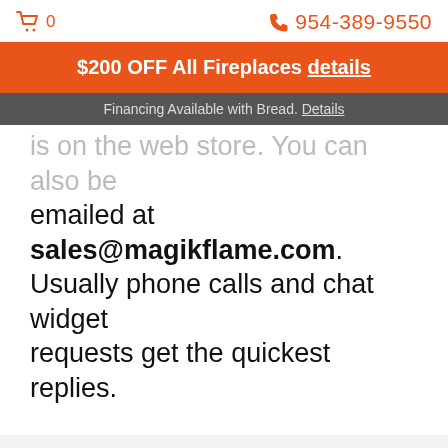🛒 0   📞 954-389-9550
$200 OFF All Fireplaces details
Financing Available with Bread. Details
is on the web store. You can also be emailed at sales@magikflame.com. Usually phone calls and chat widget requests get the quickest replies.
Subscribe
Get the latest